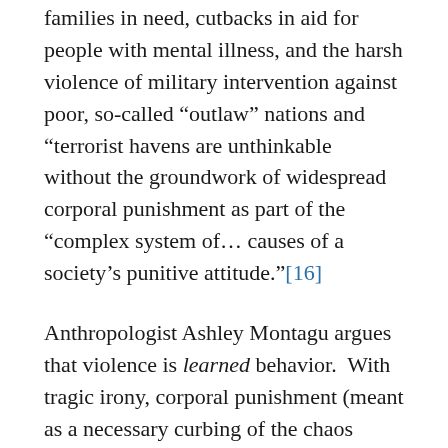families in need, cutbacks in aid for people with mental illness, and the harsh violence of military intervention against poor, so-called “outlaw” nations and “terrorist havens are unthinkable without the groundwork of widespread corporal punishment as part of the “complex system of… causes of a society’s punitive attitude.”[16]
Anthropologist Ashley Montagu argues that violence is learned behavior. With tragic irony, corporal punishment (meant as a necessary curbing of the chaos stemming from the presumed inborn human tendency toward violence) may actually have the effect of teaching children a “skill” they would not otherwise learn—